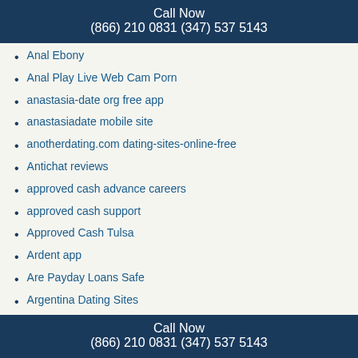Call Now
(866) 210 0831 (347) 537 5143
Anal Ebony
Anal Play Live Web Cam Porn
anastasia-date org free app
anastasiadate mobile site
anotherdating.com dating-sites-online-free
Antichat reviews
approved cash advance careers
approved cash support
Approved Cash Tulsa
Ardent app
Are Payday Loans Safe
Argentina Dating Sites
Arizona Payday Loans Online
Arizona Title Loans
Arkansas Personal Loans
article writing
Asexual-Dating alternative
Call Now
(866) 210 0831 (347) 537 5143